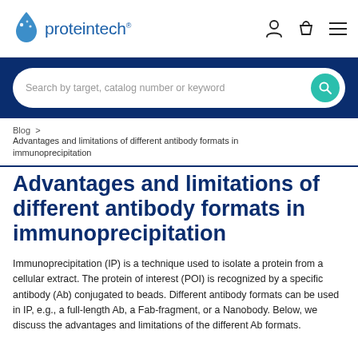proteintech
Search by target, catalog number or keyword
Blog > Advantages and limitations of different antibody formats in immunoprecipitation
Advantages and limitations of different antibody formats in immunoprecipitation
Immunoprecipitation (IP) is a technique used to isolate a protein from a cellular extract. The protein of interest (POI) is recognized by a specific antibody (Ab) conjugated to beads. Different antibody formats can be used in IP, e.g., a full-length Ab, a Fab-fragment, or a Nanobody. Below, we discuss the advantages and limitations of the different Ab formats.